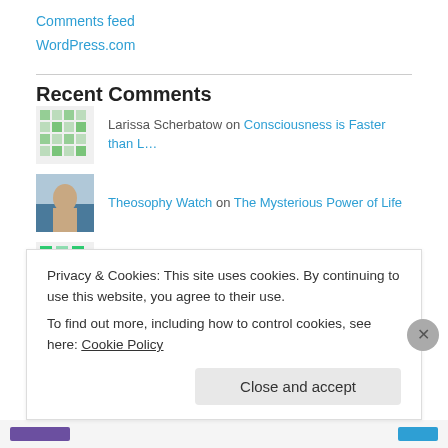Comments feed
WordPress.com
Recent Comments
Larissa Scherbatow on Consciousness is Faster than L…
Theosophy Watch on The Mysterious Power of Life
devisun on The Mysterious Power of Life
Chance Grotheer on Dogmatism In Theosophy
Privacy & Cookies: This site uses cookies. By continuing to use this website, you agree to their use. To find out more, including how to control cookies, see here: Cookie Policy